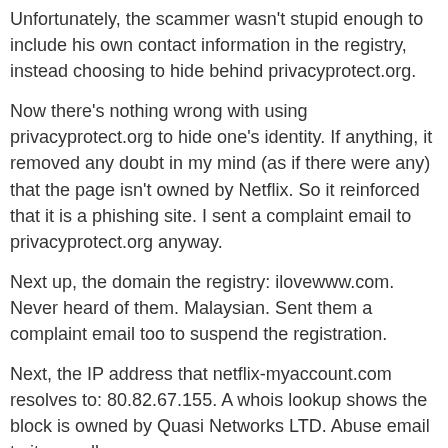Unfortunately, the scammer wasn't stupid enough to include his own contact information in the registry, instead choosing to hide behind privacyprotect.org.
Now there's nothing wrong with using privacyprotect.org to hide one's identity.  If anything, it removed any doubt in my mind (as if there were any) that the page isn't owned by Netflix.  So it reinforced that it is a phishing site.  I sent a complaint email to privacyprotect.org anyway.
Next up, the domain the registry: ilovewww.com.  Never heard of them.  Malaysian.  Sent them a complaint email too to suspend the registration.
Next, the IP address that netflix-myaccount.com resolves to: 80.82.67.155.  A whois lookup shows the block is owned by Quasi Networks LTD.  Abuse email to it as well.
Now to another nice site: phishcheck.me, a site that evaluates how likely a site is to be fraudulent.  It actually goes to the site and analyzes it.  So I went there and plugged in "http://netflix-myaccount.com", and sure enough,